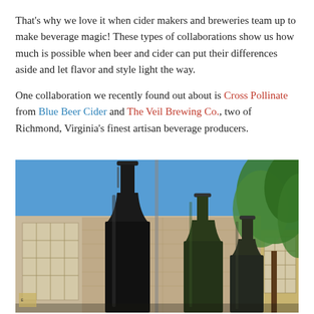That's why we love it when cider makers and breweries team up to make beverage magic! These types of collaborations show us how much is possible when beer and cider can put their differences aside and let flavor and style light the way.
One collaboration we recently found out about is Cross Pollinate from Blue Beer Cider and The Veil Brewing Co., two of Richmond, Virginia's finest artisan beverage producers.
[Figure (photo): Photo of three large dark glass bottles (black and dark green) standing upright outdoors against a blue sky, with a brick/stone industrial building with large windows in the background and green tree foliage on the right.]